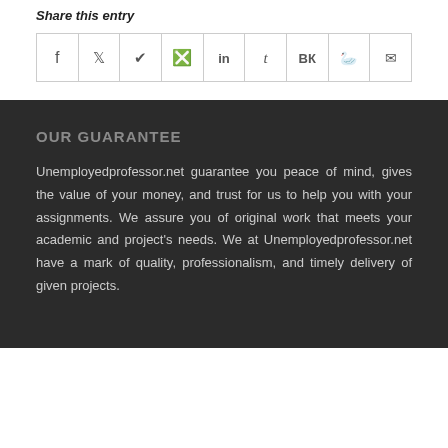Share this entry
[Figure (other): Social share icons row: Facebook (f), Twitter, WhatsApp, Pinterest, LinkedIn, Tumblr, VK, Reddit, Email]
OUR GUARANTEE
Unemployedprofessor.net guarantee you peace of mind, gives the value of your money, and trust for us to help you with your assignments. We assure you of original work that meets your academic and project's needs. We at Unemployedprofessor.net have a mark of quality, professionalism, and timely delivery of given projects.